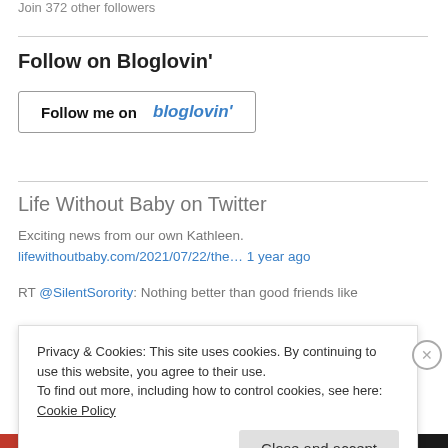Join 372 other followers
Follow on Bloglovin'
[Figure (other): Follow me on bloglovin' button — a bordered button with text 'Follow me on bloglovin\u2019' where bloglovin\u2019 appears in blue italic bold]
Life Without Baby on Twitter
Exciting news from our own Kathleen.
lifewithoutbaby.com/2021/07/22/the… 1 year ago
RT @SilentSorority: Nothing better than good friends like
Privacy & Cookies: This site uses cookies. By continuing to use this website, you agree to their use.
To find out more, including how to control cookies, see here: Cookie Policy
Close and accept